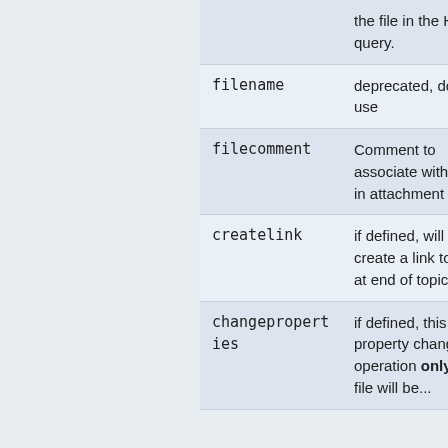| Parameter | Description |
| --- | --- |
|  | the file in the HTTP query. |
| filename | deprecated, do not use |
| filecomment | Comment to associate with file in attachment table |
| createlink | if defined, will create a link to file at end of topic |
| changeproperties | if defined, this is a property change operation only - no file will be... |